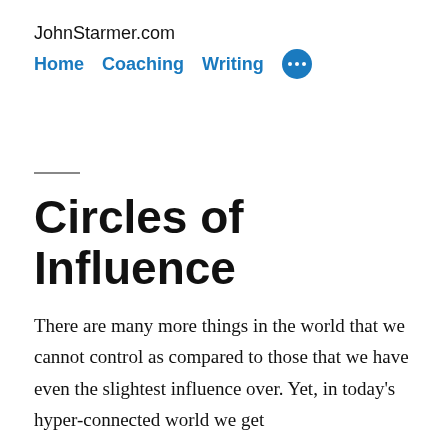JohnStarmer.com
Home  Coaching  Writing  ···
Circles of Influence
There are many more things in the world that we cannot control as compared to those that we have even the slightest influence over. Yet, in today's hyper-connected world we get